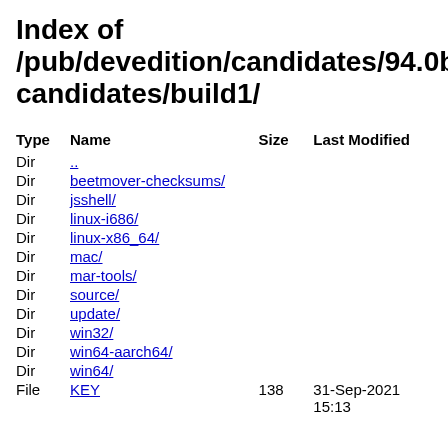Index of /pub/devedition/candidates/94.0b candidates/build1/
| Type | Name | Size | Last Modified |
| --- | --- | --- | --- |
| Dir | .. |  |  |
| Dir | beetmover-checksums/ |  |  |
| Dir | jsshell/ |  |  |
| Dir | linux-i686/ |  |  |
| Dir | linux-x86_64/ |  |  |
| Dir | mac/ |  |  |
| Dir | mar-tools/ |  |  |
| Dir | source/ |  |  |
| Dir | update/ |  |  |
| Dir | win32/ |  |  |
| Dir | win64-aarch64/ |  |  |
| Dir | win64/ |  |  |
| File | KEY... | 138 | 31-Sep-2021 15:13 |